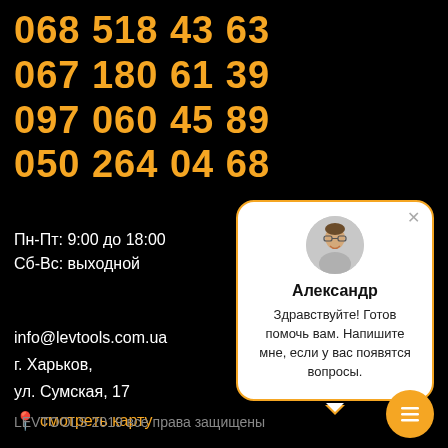068 518 43 63
067 180 61 39
097 060 45 89
050 264 04 68
Пн-Пт: 9:00 до 18:00
Сб-Вс: выходной
info@levtools.com.ua
г. Харьков,
ул. Сумская, 17
📍 смотреть карту
[Figure (screenshot): Chat popup with avatar of Александр, text: Здравствуйте! Готов помочь вам. Напишите мне, если у вас появятся вопросы.]
LEVTOOLS 2019 все права защищены